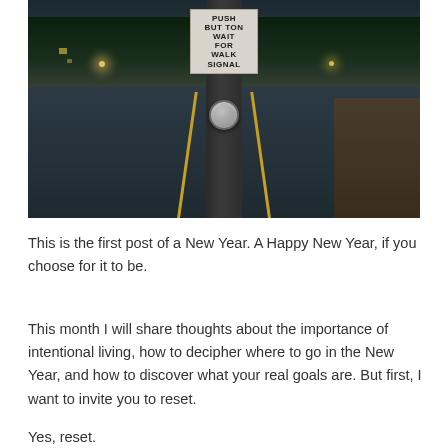[Figure (photo): A street crosswalk pole with a sign reading 'PUSH BUTTON WAIT FOR WALK SIGNAL' and a round push button below it. The background shows a road with yellow lines, trees, and dusk/evening sky.]
This is the first post of a New Year. A Happy New Year, if you choose for it to be.
This month I will share thoughts about the importance of intentional living, how to decipher where to go in the New Year, and how to discover what your real goals are. But first, I want to invite you to reset.
Yes, reset.